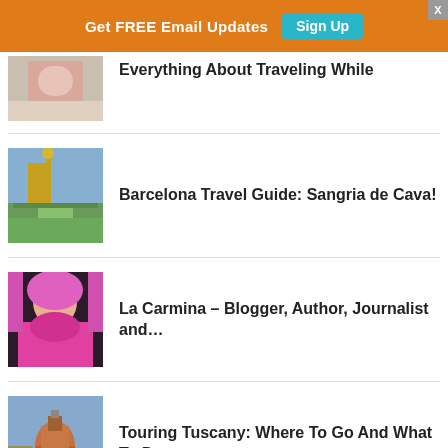Get FREE Email Updates  Sign Up
[Figure (photo): Partial image at top — cropped photo of person, partially visible]
Everything About Traveling While
[Figure (photo): Photo of Barcelona fountain / park scene (Ciutadella)]
Barcelona Travel Guide: Sangria de Cava!
[Figure (photo): Photo of woman with pink hair and pink fur coat]
La Carmina – Blogger, Author, Journalist and…
[Figure (photo): Photo of Florence cathedral / Duomo in Tuscany]
Touring Tuscany: Where To Go And What To Do